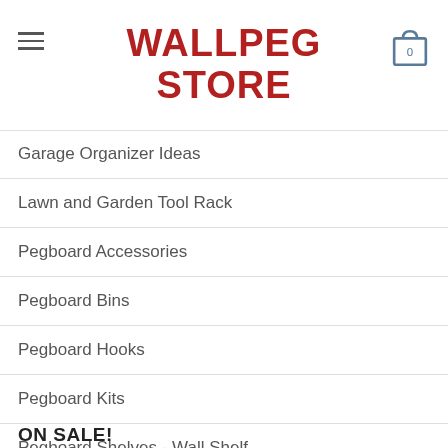WALLPEG STORE
Garage Organizer Ideas
Lawn and Garden Tool Rack
Pegboard Accessories
Pegboard Bins
Pegboard Hooks
Pegboard Kits
Pegboard Shelves - Wall Shelf
Pegboards
Uncategorized
ON SALE!